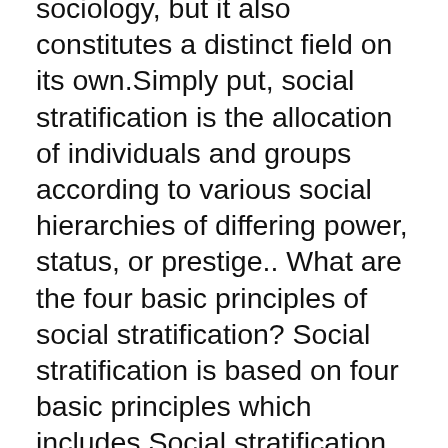sociology, but it also constitutes a distinct field on its own.Simply put, social stratification is the allocation of individuals and groups according to various social hierarchies of differing power, status, or prestige.. What are the four basic principles of social stratification? Social stratification is based on four basic principles which includes Social stratification is a trait of society, not simply a reflection of individual differences; Social stratification carries over from generation to generation; Social stratification is universal but variable; Social stratification involves not ... What are 3 main stratification systems in human history? In today's world, three main systems of stratification remain: slavery, a caste system, and a class system. What is the first principle of social stratification? Four basic principles• Social stratification is based on four basic principles:…